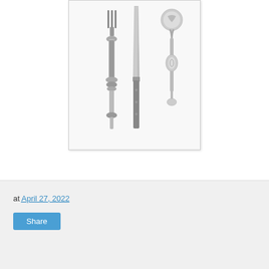[Figure (illustration): Black and white illustration of vintage silverware/cutlery set including a fork, knife, and decorative spoon arranged vertically, displayed in a light gray framed box]
at April 27, 2022